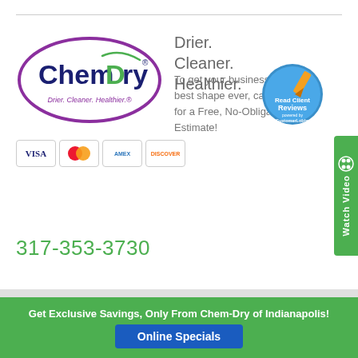[Figure (logo): Chem-Dry logo in purple oval with green and blue text, tagline 'Drier. Cleaner. Healthier.' below]
[Figure (infographic): Payment method icons: VISA, Mastercard, AMEX, Discover]
Drier. Cleaner. Healthier.
To get your business in its best shape ever, call now for a Free, No-Obligation Estimate!
[Figure (infographic): Read Client Reviews badge with orange pencil graphic, powered by CustomerLobby]
[Figure (infographic): Watch Video green vertical tab with film reel icon]
317-353-3730
Our Service Area
Get Exclusive Savings, Only From Chem-Dry of Indianapolis!
Online Specials